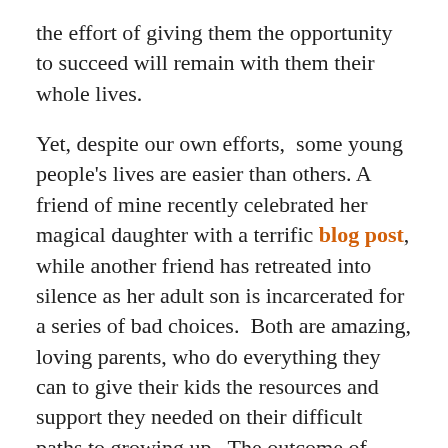the effort of giving them the opportunity to succeed will remain with them their whole lives.
Yet, despite our own efforts, some young people's lives are easier than others. A friend of mine recently celebrated her magical daughter with a terrific blog post, while another friend has retreated into silence as her adult son is incarcerated for a series of bad choices. Both are amazing, loving parents, who do everything they can to give their kids the resources and support they needed on their difficult paths to growing up. The outcome of their efforts will likely be vastly different.
Being young is hard. Loving young people through it all is challenging. They are our future – and as such deserve our best efforts.
I have not been the parent I wanted to be – we were